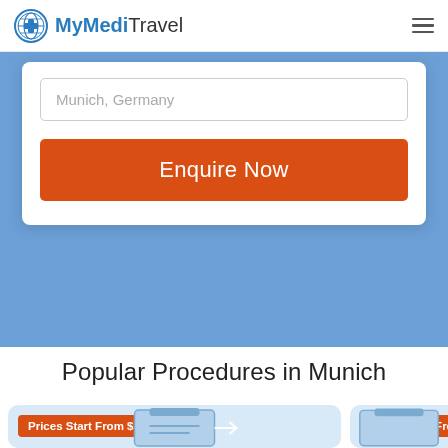MyMediTravel
Munich, Germany
Enquire Now
Popular Procedures in Munich
Prices Start From $124
Prices Start From